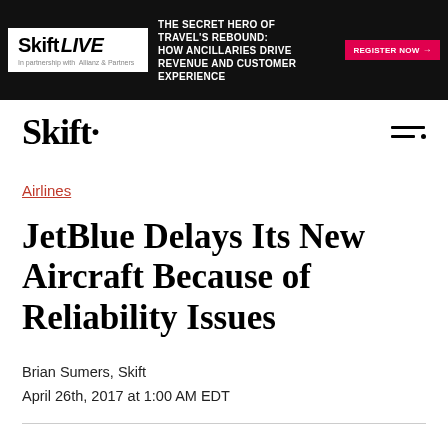[Figure (other): Banner advertisement for Skift LIVE event. Dark background with Skift LIVE logo on white box, text reading 'THE SECRET HERO OF TRAVEL'S REBOUND: HOW ANCILLARIES DRIVE REVENUE AND CUSTOMER EXPERIENCE', a red REGISTER NOW button, and a photo of people on the right.]
Skift·
Airlines
JetBlue Delays Its New Aircraft Because of Reliability Issues
Brian Sumers, Skift
April 26th, 2017 at 1:00 AM EDT